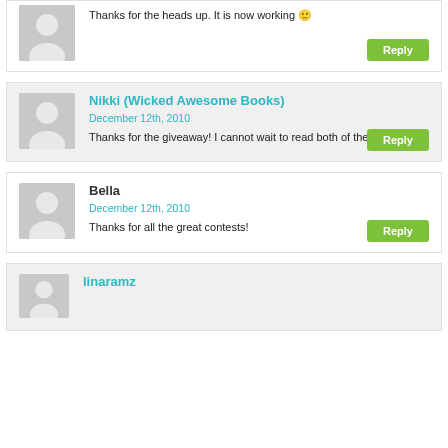Thanks for the heads up. It is now working 🙂
Reply
Nikki (Wicked Awesome Books)
December 12th, 2010
Thanks for the giveaway! I cannot wait to read both of these books.
Reply
Bella
December 12th, 2010
Thanks for all the great contests!
Reply
linaramz